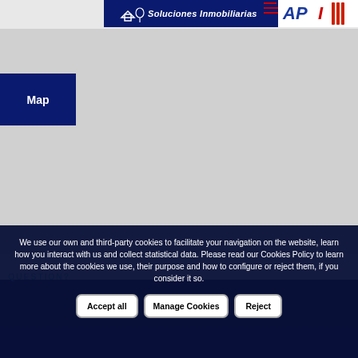[Figure (logo): Real estate agency logo banner with dark blue left section reading 'Soluciones Inmobiliarias' and white right section with 'API' text in red/blue]
Map
[Figure (map): Gray map area placeholder]
QUESTION?
We use our own and third-party cookies to facilitate your navigation on the website, learn how you interact with us and collect statistical data. Please read our Cookies Policy to learn more about the cookies we use, their purpose and how to configure or reject them, if you consider it so.
Accept all
Manage Cookies
Reject